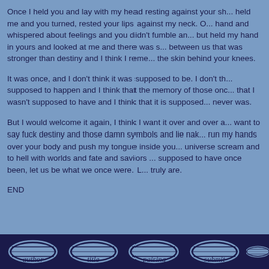Once I held you and lay with my head resting against your sh... held me and you turned, rested your lips against my neck. O... hand and whispered about feelings and you didn't fumble an... but held my hand in yours and looked at me and there was s... between us that was stronger than destiny and I think I reme... the skin behind your knees.
It was once, and I don't think it was supposed to be. I don't th... supposed to happen and I think that the memory of those onc... that I wasn't supposed to have and I think that it is supposed... never was.
But I would welcome it again, I think I want it over and over a... want to say fuck destiny and those damn symbols and lie nak... run my hands over your body and push my tongue inside you... universe scream and to hell with worlds and fate and saviors ... supposed to have once been, let us be what we once were. L... truly are.
END
[Figure (other): Navigation footer bar with dark blue background containing decorative scroll/button graphics labeled: author, title, pairing, submit, and a partially visible fifth button.]